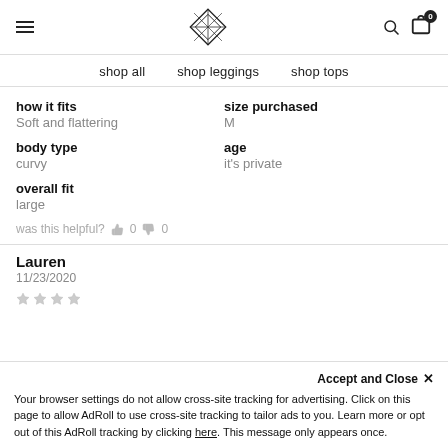Navigation header with menu, logo, search, and cart
shop all   shop leggings   shop tops
how it fits
Soft and flattering
size purchased
M
body type
curvy
age
it's private
overall fit
large
was this helpful?  👍 0  👎 0
Lauren
11/23/2020
Accept and Close ×
Your browser settings do not allow cross-site tracking for advertising. Click on this page to allow AdRoll to use cross-site tracking to tailor ads to you. Learn more or opt out of this AdRoll tracking by clicking here. This message only appears once.